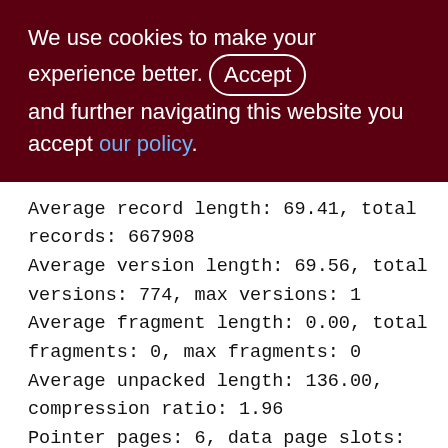We use cookies to make your experience better. By accepting and further navigating this website you accept our policy.
Average record length: 69.41, total records: 667908
Average version length: 69.56, total versions: 774, max versions: 1
Average fragment length: 0.00, total fragments: 0, max fragments: 0
Average unpacked length: 136.00, compression ratio: 1.96
Pointer pages: 6, data page slots: 9208
Data pages: 9208, average fill: 77%
Primary pages: 9208, secondary pages: 0, swept pages: 7114